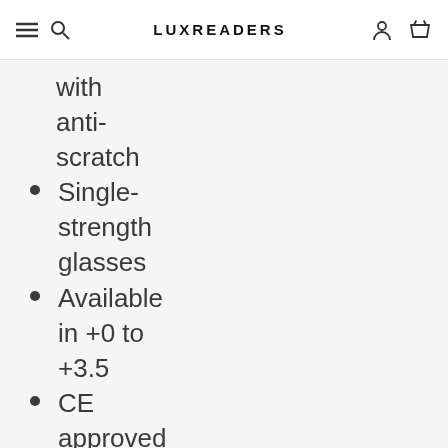LUXREADERS
with anti-scratch
Single-strength glasses
Available in +0 to +3.5
CE approved
Allergy-friendly
Flexible hinges